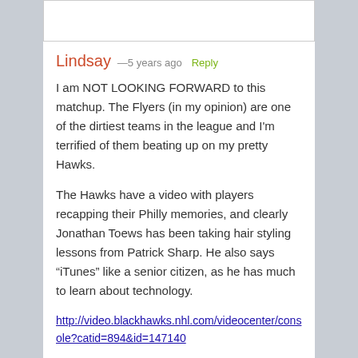[Figure (photo): Image placeholder at the top of the comment card]
Lindsay —5 years ago Reply
I am NOT LOOKING FORWARD to this matchup. The Flyers (in my opinion) are one of the dirtiest teams in the league and I'm terrified of them beating up on my pretty Hawks.
The Hawks have a video with players recapping their Philly memories, and clearly Jonathan Toews has been taking hair styling lessons from Patrick Sharp. He also says “iTunes” like a senior citizen, as he has much to learn about technology.
http://video.blackhawks.nhl.com/videocenter/console?catid=894&id=147140